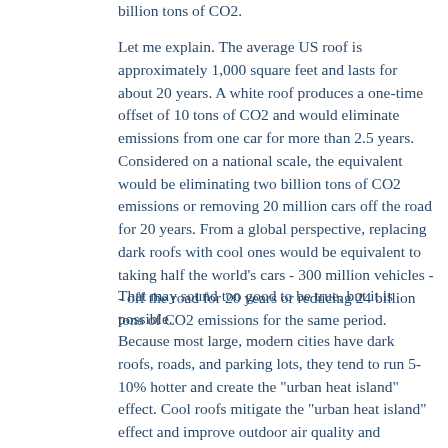billion tons of CO2.
Let me explain. The average US roof is approximately 1,000 square feet and lasts for about 20 years. A white roof produces a one-time offset of 10 tons of CO2 and would eliminate emissions from one car for more than 2.5 years. Considered on a national scale, the equivalent would be eliminating two billion tons of CO2 emissions or removing 20 million cars off the road for 20 years. From a global perspective, replacing dark roofs with cool ones would be equivalent to taking half the world's cars - 300 million vehicles -- off the road for 20 years or reducing 24 billion tons of CO2 emissions for the same period.
That may sound too good to be true, but it is possible.
Because most large, modern cities have dark roofs, roads, and parking lots, they tend to run 5-10% hotter and create the "urban heat island" effect. Cool roofs mitigate the "urban heat island" effect and improve outdoor air quality and comfort. Light-colored roofs have other benefits. Most importantly, they lower